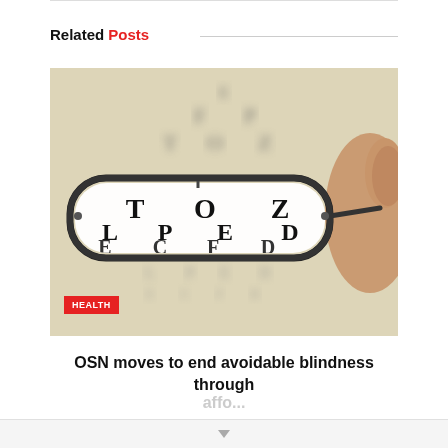Related Posts
[Figure (photo): A hand holding eyeglasses close to an eye chart. Through the lens of the glasses, the letters T O Z / L P E D / E C F D are sharply visible, while the background eye chart is blurred. A red badge in the bottom-left corner reads HEALTH.]
OSN moves to end avoidable blindness through